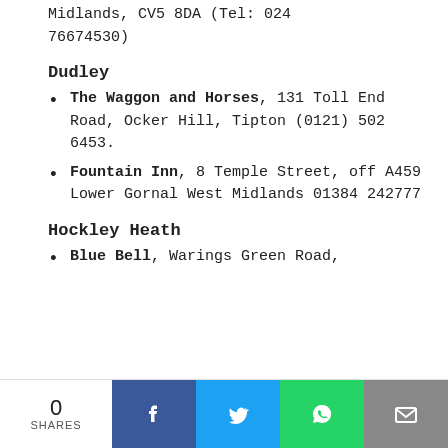Midlands, CV5 8DA (Tel: 024 76674530)
Dudley
The Waggon and Horses, 131 Toll End Road, Ocker Hill, Tipton (0121) 502 6453.
Fountain Inn, 8 Temple Street, off A459 Lower Gornal West Midlands 01384 242777
Hockley Heath
Blue Bell, Warings Green Road,
0 SHARES | Facebook | Twitter | WhatsApp | Email